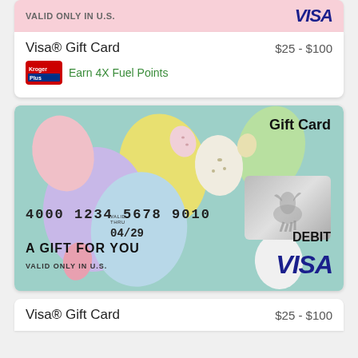[Figure (illustration): Top portion of a pink Visa Gift Card banner showing 'VALID ONLY IN U.S.' text and blue Visa logo]
Visa® Gift Card
$25 - $100
Earn 4X Fuel Points
[Figure (illustration): Easter-themed Visa Debit Gift Card with colorful pastel Easter eggs on teal background, card number 4000 1234 5678 9010, valid thru 04/29, A GIFT FOR YOU, VALID ONLY IN U.S., DEBIT VISA logo]
Visa® Gift Card
$25 - $100